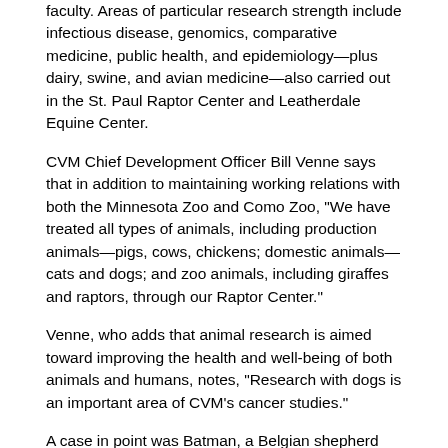faculty. Areas of particular research strength include infectious disease, genomics, comparative medicine, public health, and epidemiology—plus dairy, swine, and avian medicine—also carried out in the St. Paul Raptor Center and Leatherdale Equine Center.
CVM Chief Development Officer Bill Venne says that in addition to maintaining working relations with both the Minnesota Zoo and Como Zoo, "We have treated all types of animals, including production animals—pigs, cows, chickens; domestic animals—cats and dogs; and zoo animals, including giraffes and raptors, through our Raptor Center."
Venne, who adds that animal research is aimed toward improving the health and well-being of both animals and humans, notes, "Research with dogs is an important area of CVM's cancer studies."
A case in point was Batman, a Belgian shepherd mix diagnosed with a fatal brain tumor, that was brought to the attention of John Ohlfest, PhD, and Elizabeth Pluhar, CVM surgeon, both members of the University's Masonic Cancer Center. They merged her surgeon's skills and his knowledge of molecular biology and immunology necessary to administer gene and immune therapy.